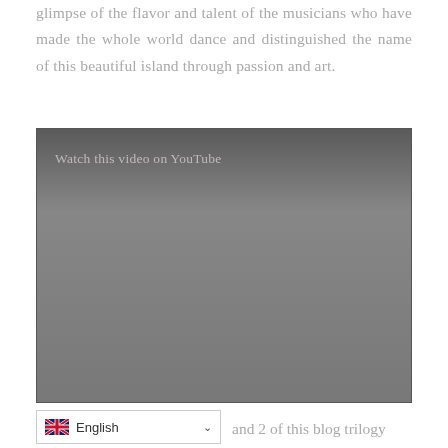glimpse of the flavor and talent of the musicians who have made the whole world dance and distinguished the name of this beautiful island through passion and art.
[Figure (screenshot): A YouTube video embed placeholder showing a dark grey gradient box with the text 'Watch this video on YouTube' in the upper left area.]
and 2 of this blog trilogy